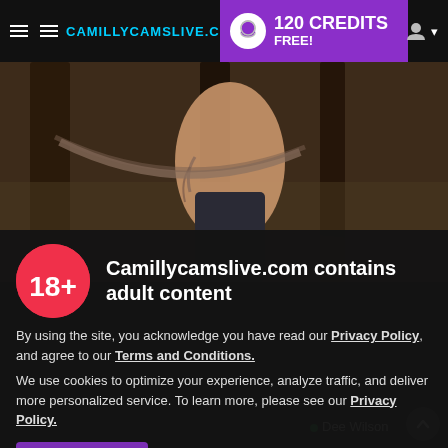CAMILLYCAMSLIVE.COM — 120 CREDITS FREE!
[Figure (photo): Background photo of a tattooed person leaning against a tree outdoors]
Camillycamslive.com contains adult content
By using the site, you acknowledge you have read our Privacy Policy, and agree to our Terms and Conditions.
We use cookies to optimize your experience, analyze traffic, and deliver more personalized service. To learn more, please see our Privacy Policy.
I AGREE